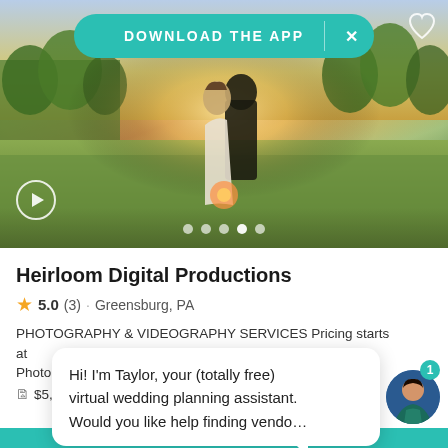[Figure (photo): Wedding couple silhouette embracing in a field with golden sunset light, trees in background. Download the App banner overlay at top.]
Heirloom Digital Productions
5.0 (3) · Greensburg, PA
PHOTOGRAPHY & VIDEOGRAPHY SERVICES Pricing starts at $2,600 Photo & ...
$5,00...
Hi! I'm Taylor, your (totally free) virtual wedding planning assistant. Would you like help finding vendo...